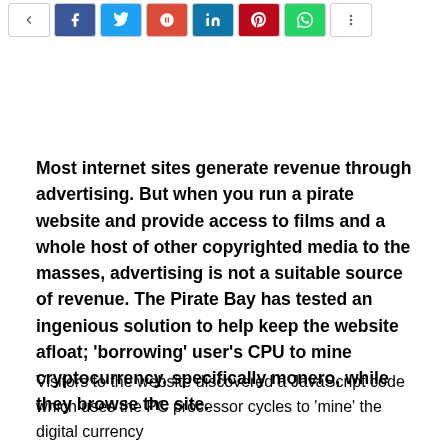[Figure (other): Social media share buttons bar: back arrow, Facebook, Twitter, Google+, LinkedIn, Pinterest, WhatsApp, and a menu icon]
Most internet sites generate revenue through advertising. But when you run a pirate website and provide access to films and a whole host of other copyrighted media to the masses, advertising is not a suitable source of revenue. The Pirate Bay has tested an ingenious solution to help keep the website afloat; ‘borrowing’ user’s CPU to mine cryptocurrency, specifically monero, while they browse the site.
Visitors to the website discovered a JavaScript code which uses the PC processor cycles to ‘mine’ the digital currency